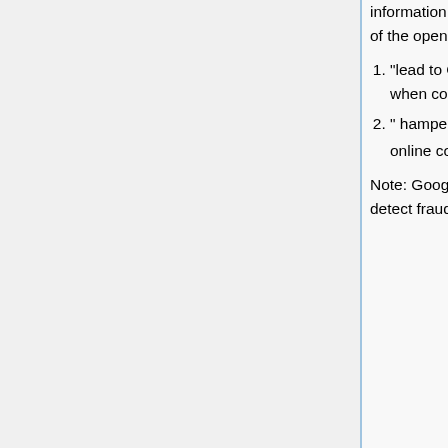information used to optimize user experiences, this would likely impair the "attractiveness of the open display market." Google's proposal would:
"lead to Google's rival publishers offering a worse service to both users and advertisers when competing with Google to attract advertiser spend to their ad inventory,"
" hamper Google's rivals' abilities to detect fraud and limit their ability to optimize their online content to, for example, a user's device."[7]
Note: Google has made no commitment that it will rely only on User-Agent Client Hints to detect fraud or optimize user experiences its own web properties.